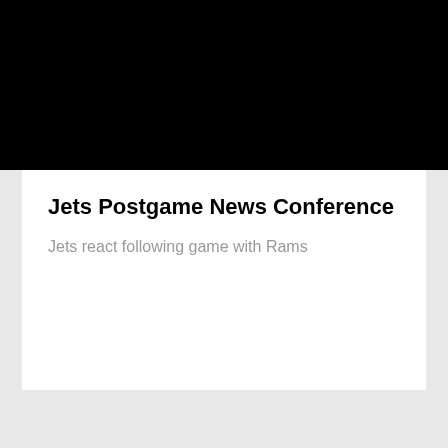[Figure (photo): Black rectangular image area at top of card, likely a video thumbnail or photo placeholder]
Jets Postgame News Conference
Jets react following game with Rams